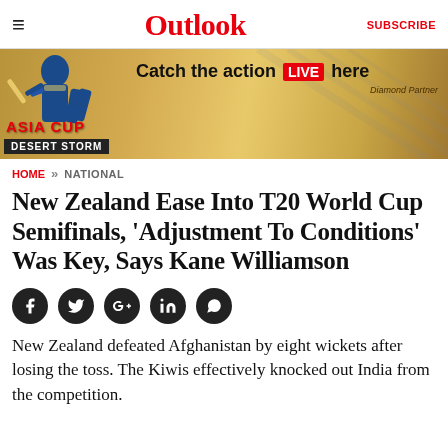Outlook  SUBSCRIBE
[Figure (photo): Advertisement banner for Asia Cup Desert Storm - Catch the action LIVE here. Shows cricket player silhouette on golden background. Diamond Partner noted.]
HOME » NATIONAL
New Zealand Ease Into T20 World Cup Semifinals, 'Adjustment To Conditions' Was Key, Says Kane Williamson
[Figure (infographic): Social sharing icons: Facebook, Twitter, Google+, LinkedIn, WhatsApp]
New Zealand defeated Afghanistan by eight wickets after losing the toss. The Kiwis effectively knocked out India from the competition.